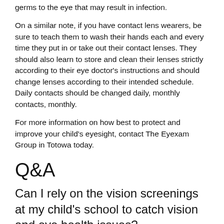germs to the eye that may result in infection.
On a similar note, if you have contact lens wearers, be sure to teach them to wash their hands each and every time they put in or take out their contact lenses. They should also learn to store and clean their lenses strictly according to their eye doctor's instructions and should change lenses according to their intended schedule. Daily contacts should be changed daily, monthly contacts, monthly.
For more information on how best to protect and improve your child's eyesight, contact The Eyexam Group in Totowa today.
Q&A
Can I rely on the vision screenings at my child's school to catch vision and eye health issues?
No. School-based vision screenings check for basic visual